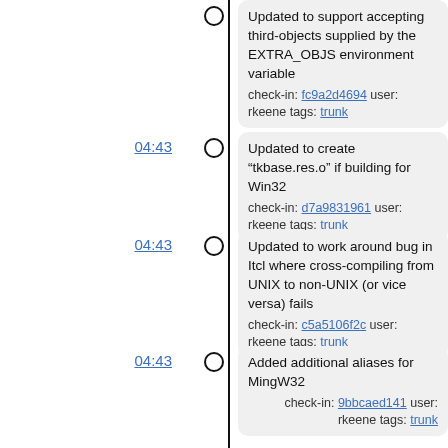Updated to support accepting third-objects supplied by the EXTRA_OBJS environment variable check-in: fc9a2d4694 user: rkeene tags: trunk
04:43 Updated to create "tkbase.res.o" if building for Win32 check-in: d7a9831961 user: rkeene tags: trunk
04:43 Updated to work around bug in Itcl where cross-compiling from UNIX to non-UNIX (or vice versa) fails check-in: c5a5106f2c user: rkeene tags: trunk
04:43 Added additional aliases for MingW32 check-in: 9bbcaed141 user: rkeene tags: trunk
04:43 Switched to Zlib v1.2.3, newer versions have issues with cross-compiling to systems without a "libc" (e.g., Windows) check-in: 4d2a723204 user: rkeene tags: trunk
04:43 Updated to remove all non-static links to statically linked libraries check-in: 459ce657ff user: rkeene tags: trunk
04:42 KitCreator 0.2.4.x